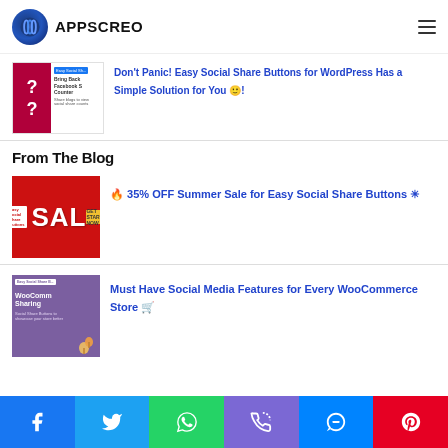APPSCREO
[Figure (screenshot): Thumbnail image for article about Facebook Share Counter and Easy Social Share Buttons for WordPress]
Don't Panic! Easy Social Share Buttons for WordPress Has a Simple Solution for You 🙂!
From The Blog
[Figure (screenshot): Red SALE banner thumbnail for Easy Social Share Buttons 35% OFF Summer Sale promotion]
🔥 35% OFF Summer Sale for Easy Social Share Buttons ☀
[Figure (screenshot): Purple WooCommerce Sharing thumbnail for Easy Social Share Buttons]
Must Have Social Media Features for Every WooCommerce Store 🛒
Facebook | Twitter | WhatsApp | Phone | Messenger | Pinterest